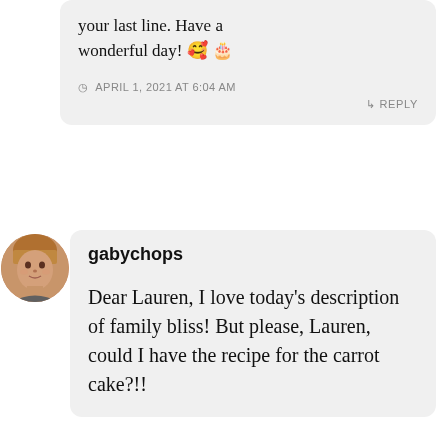your last line. Have a wonderful day! 🥰 🎂
APRIL 1, 2021 AT 6:04 AM
↳ REPLY
[Figure (photo): Circular avatar photo of a person with blonde bangs]
gabychops
Dear Lauren, I love today's description of family bliss! But please, Lauren, could I have the recipe for the carrot cake?!!